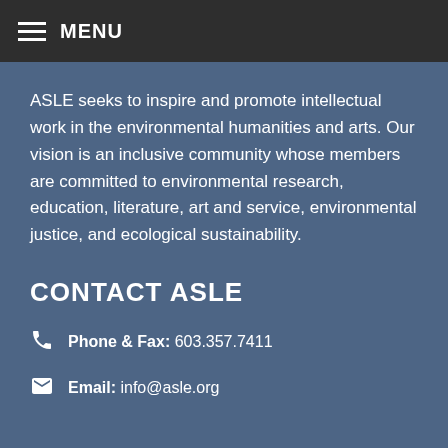MENU
ASLE seeks to inspire and promote intellectual work in the environmental humanities and arts. Our vision is an inclusive community whose members are committed to environmental research, education, literature, art and service, environmental justice, and ecological sustainability.
CONTACT ASLE
Phone & Fax: 603.357.7411
Email: info@asle.org